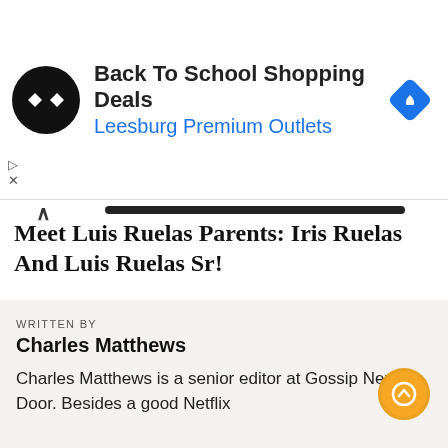[Figure (screenshot): Advertisement banner: black circular logo with two overlapping diamond shapes, text 'Back To School Shopping Deals' and 'Leesburg Premium Outlets', blue diamond navigation icon on right]
Meet Luis Ruelas Parents: Iris Ruelas And Luis Ruelas Sr!
WRITTEN BY
Charles Matthews
Charles Matthews is a senior editor at Gossip Next Door. Besides a good Netflix